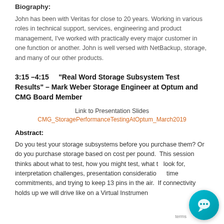Biography:
John has been with Veritas for close to 20 years. Working in various roles in technical support, services, engineering and product management, I've worked with practically every major customer in one function or another. John is well versed with NetBackup, storage, and many of our other products.
3:15 –4:15     "Real Word Storage Subsystem Test Results" – Mark Weber Storage Engineer at Optum and CMG Board Member
Link to Presentation Slides
CMG_StoragePerformanceTestingAtOptum_March2019
Abstract:
Do you test your storage subsystems before you purchase them? Or do you purchase storage based on cost per pound.  This session thinks about what to test, how you might test, what to look for, interpretation challenges, presentation considerations, time commitments, and trying to keep 13 pins in the air.  If connectivity holds up we will drive like on a Virtual Instruments Workload Wiz…